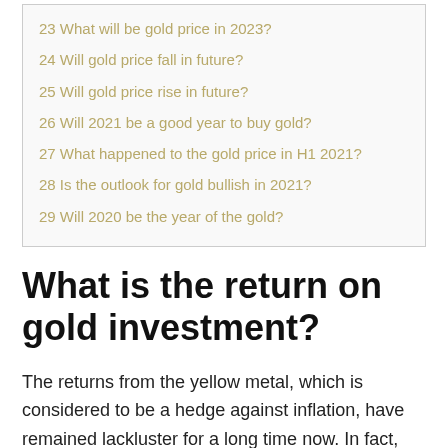23 What will be gold price in 2023?
24 Will gold price fall in future?
25 Will gold price rise in future?
26 Will 2021 be a good year to buy gold?
27 What happened to the gold price in H1 2021?
28 Is the outlook for gold bullish in 2021?
29 Will 2020 be the year of the gold?
What is the return on gold investment?
The returns from the yellow metal, which is considered to be a hedge against inflation, have remained lackluster for a long time now. In fact, gold